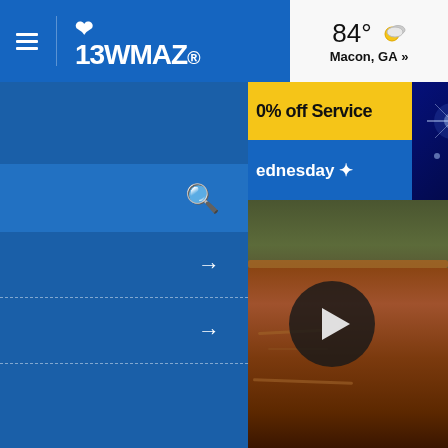13WMAZ
84° Macon, GA »
[Figure (screenshot): Navigation drawer with search icon and arrow menu items on dark blue background]
[Figure (photo): Video thumbnail showing flooding muddy water with a play button overlay]